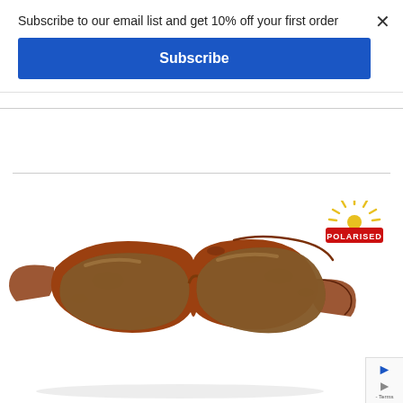Subscribe to our email list and get 10% off your first order
Subscribe
[Figure (photo): Tortoise shell frame polarised wraparound sunglasses with brown lenses and a Polarised logo badge]
[Figure (logo): POLARISED sunburst badge logo in red and yellow]